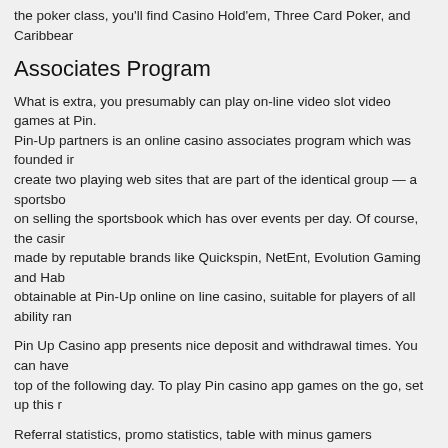the poker class, you'll find Casino Hold'em, Three Card Poker, and Caribbear
Associates Program
What is extra, you presumably can play on-line video slot video games at Pin. Pin-Up partners is an online casino associates program which was founded ir create two playing web sites that are part of the identical group — a sportsbo on selling the sportsbook which has over events per day. Of course, the casir made by reputable brands like Quickspin, NetEnt, Evolution Gaming and Hab obtainable at Pin-Up online on line casino, suitable for players of all ability ran
Pin Up Casino app presents nice deposit and withdrawal times. You can have top of the following day. To play Pin casino app games on the go, set up this r
Referral statistics, promo statistics, table with minus gamers according to RS- provides three particular models of cooperation – Revenue share, Hybrid and simple as a result of it has 16 totally different deposit strategies. The in style c Mastercard, Skrill, VISA, and others. Clubcivicquebec.com is an independent operated by VerticalScope Inc.
It is a specific mode of play that lets you play Pin Up on line on line casino vic registration. The greatest method to get acquainted with the presents on-line website. The PinUp just isn't a prohibited platform and will provide suppliers to this, customers from India could ensure of the legality of the situation and the